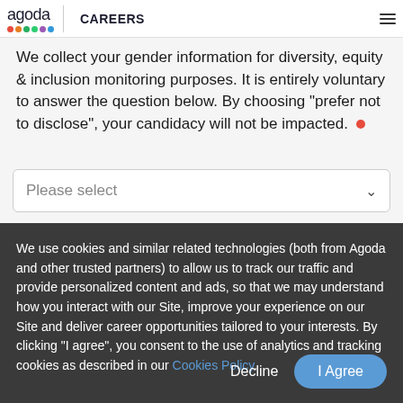agoda CAREERS
We collect your gender information for diversity, equity & inclusion monitoring purposes. It is entirely voluntary to answer the question below. By choosing “prefer not to disclose”, your candidacy will not be impacted.
Please select
We use cookies and similar related technologies (both from Agoda and other trusted partners) to allow us to track our traffic and provide personalized content and ads, so that we may understand how you interact with our Site, improve your experience on our Site and deliver career opportunities tailored to your interests. By clicking “I agree”, you consent to the use of analytics and tracking cookies as described in our Cookies Policy.
Decline
I Agree